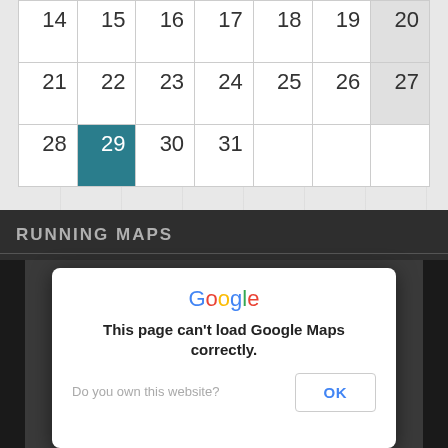| 14 | 15 | 16 | 17 | 18 | 19 | 20 |
| 21 | 22 | 23 | 24 | 25 | 26 | 27 |
| 28 | 29 | 30 | 31 |  |  |  |
RUNNING MAPS
[Figure (screenshot): Google Maps error dialog box reading 'This page can't load Google Maps correctly.' with 'Do you own this website?' and an OK button, overlaid on a dark map background.]